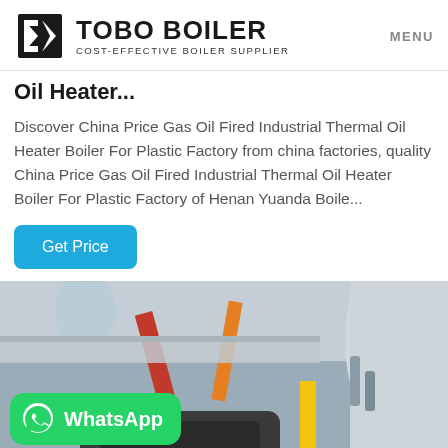TOBO BOILER — COST-EFFECTIVE BOILER SUPPLIER | MENU
Oil Heater...
Discover China Price Gas Oil Fired Industrial Thermal Oil Heater Boiler For Plastic Factory from china factories, quality China Price Gas Oil Fired Industrial Thermal Oil Heater Boiler For Plastic Factory of Henan Yuanda Boile...
Get Price
[Figure (photo): Industrial boiler room interior showing pipes, ductwork with orange and red pipes against metal walls. A WhatsApp contact badge is overlaid at the bottom left.]